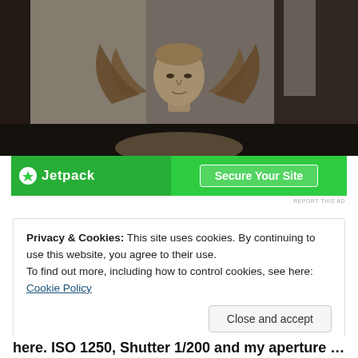[Figure (photo): A classical winged statue (angel or Nike figure) photographed indoors in dark ambient lighting, showing the head and partial wings against a grey textured wall with window light]
[Figure (screenshot): Jetpack advertisement banner in green with logo on left and 'Secure Your Site' call-to-action button on right]
REPORT THIS AD
Privacy & Cookies: This site uses cookies. By continuing to use this website, you agree to their use.
To find out more, including how to control cookies, see here: Cookie Policy
Close and accept
here. ISO 1250, Shutter 1/200 and my aperture wide open